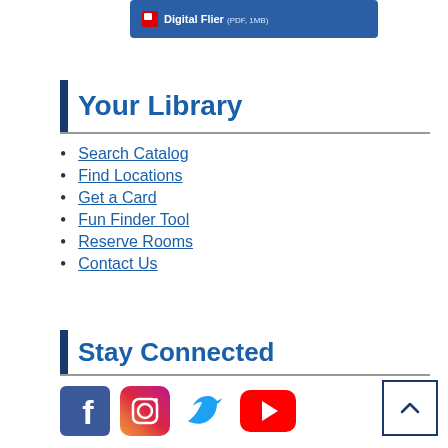[Figure (screenshot): Blue button/banner with PDF icon showing 'Digital Flier (PDF, 1MB)']
Your Library
Search Catalog
Find Locations
Get a Card
Fun Finder Tool
Reserve Rooms
Contact Us
Stay Connected
[Figure (illustration): Social media icons: Facebook, Instagram, Twitter, YouTube]